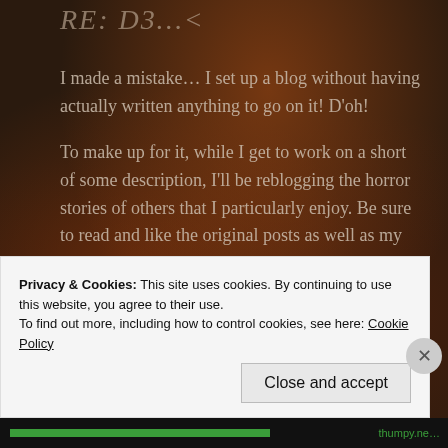RE: D3…<
I made a mistake... I set up a blog without having actually written anything to go on it! D'oh!
To make up for it, while I get to work on a short of some description, I'll be reblogging the horror stories of others that I particularly enjoy. Be sure to read and like the original posts as well as my reblog.
Thanks,
Thumpy.
Privacy & Cookies: This site uses cookies. By continuing to use this website, you agree to their use.
To find out more, including how to control cookies, see here: Cookie Policy
Close and accept